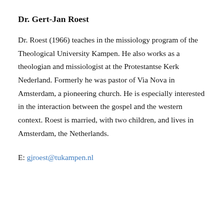Dr. Gert-Jan Roest
Dr. Roest (1966) teaches in the missiology program of the Theological University Kampen. He also works as a theologian and missiologist at the Protestantse Kerk Nederland. Formerly he was pastor of Via Nova in Amsterdam, a pioneering church. He is especially interested in the interaction between the gospel and the western context. Roest is married, with two children, and lives in Amsterdam, the Netherlands.
E: gjroest@tukampen.nl